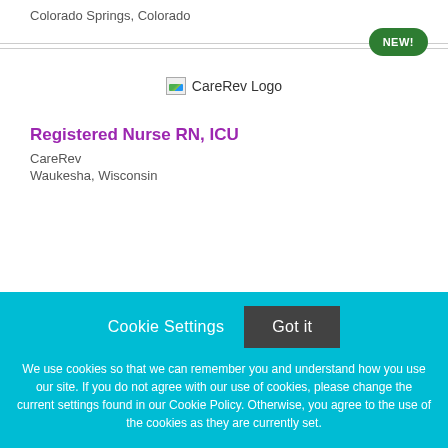Colorado Springs, Colorado
[Figure (logo): NEW! badge - green rounded pill button with white bold text]
[Figure (logo): CareRev Logo - broken image placeholder with text 'CareRev Logo']
Registered Nurse RN, ICU
CareRev
Waukesha, Wisconsin
Cookie Settings
Got it
We use cookies so that we can remember you and understand how you use our site. If you do not agree with our use of cookies, please change the current settings found in our Cookie Policy. Otherwise, you agree to the use of the cookies as they are currently set.